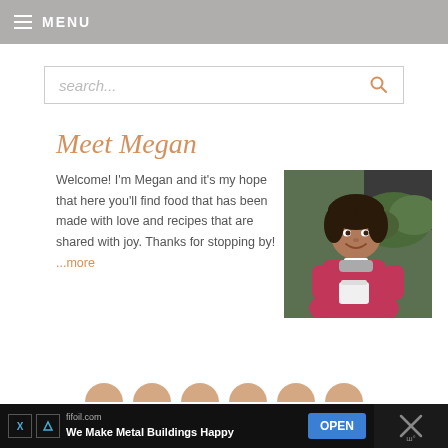MENU
search...
Meet Megan
Welcome! I'm Megan and it's my hope that here you'll find food that has been made with love and recipes that are shared with joy. Thanks for stopping by! ...more
[Figure (photo): Photo of Megan, a smiling woman with curly hair wearing a pink jacket, holding a cup, sitting outdoors with green plants in background]
[Figure (other): Row of circular thumbnail images at bottom of page]
fifoil.com We Make Metal Buildings Happy OPEN